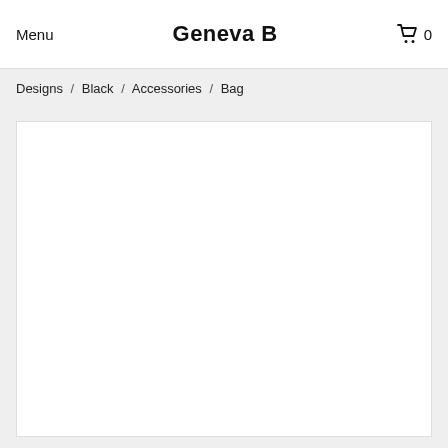Menu   Geneva B   0
Designs / Black / Accessories / Bag
[Figure (photo): White/blank product image area for a bag item]